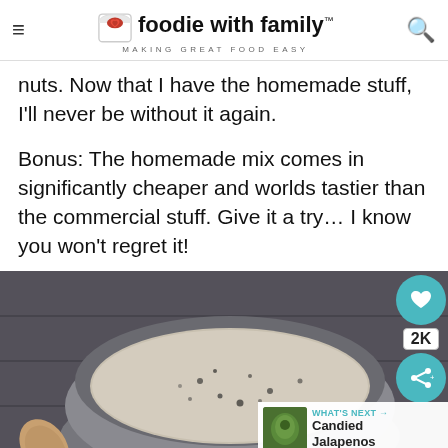foodie with family™ — MAKING GREAT FOOD EASY
nuts. Now that I have the homemade stuff, I'll never be without it again.
Bonus: The homemade mix comes in significantly cheaper and worlds tastier than the commercial stuff. Give it a try… I know you won't regret it!
[Figure (photo): A wooden spoon resting in a small metal bowl filled with a spice mix, shot from above on a dark textured surface. The spoon is branded 'ThinkBamboo.com'. Social sharing overlay shows heart icon, 2K share count, and share button. 'What's Next' panel shows Candied Jalapenos.]